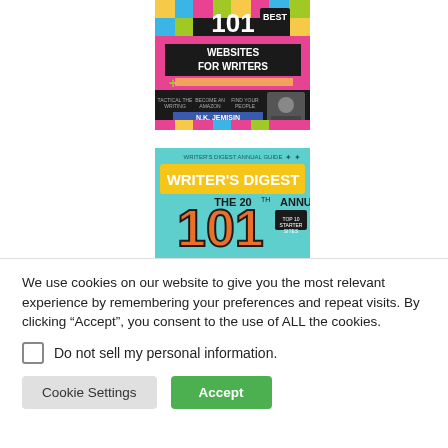[Figure (illustration): Book cover: '101 Best Websites for Writers' with colorful mosaic background, featuring N.K. Jemisin]
[Figure (illustration): Magazine cover: Writer's Digest, The 20th Annual 101, teal background with large orange '101' letters]
We use cookies on our website to give you the most relevant experience by remembering your preferences and repeat visits. By clicking “Accept”, you consent to the use of ALL the cookies.
Do not sell my personal information.
Cookie Settings
Accept